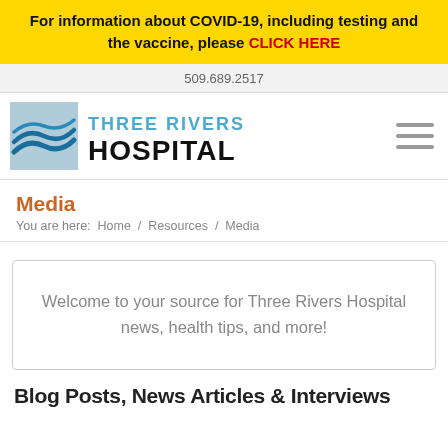For information about COVID-19, including testing and the vaccine, please CLICK HERE
509.689.2517
[Figure (logo): Three Rivers Hospital logo with blue wave graphic and text 'THREE RIVERS HOSPITAL']
Media
You are here:  Home  /  Resources  /  Media
Welcome to your source for Three Rivers Hospital news, health tips, and more!
Blog Posts, News Articles & Interviews